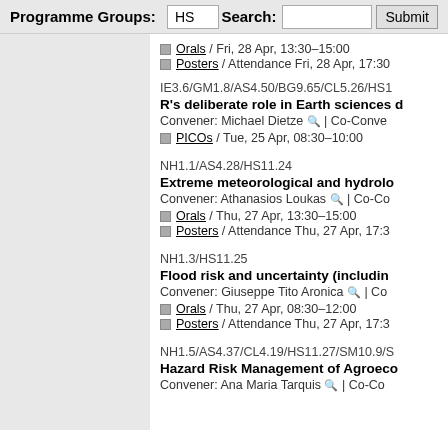Programme Groups: HS   Search:   Submit
Orals / Fri, 28 Apr, 13:30–15:00
Posters / Attendance Fri, 28 Apr, 17:30
IE3.6/GM1.8/AS4.50/BG9.65/CL5.26/HS1...
R's deliberate role in Earth sciences ...
Convener: Michael Dietze 🔍 | Co-Conve...
PICOs / Tue, 25 Apr, 08:30–10:00
NH1.1/AS4.28/HS11.24
Extreme meteorological and hydrolo...
Convener: Athanasios Loukas 🔍 | Co-Co...
Orals / Thu, 27 Apr, 13:30–15:00
Posters / Attendance Thu, 27 Apr, 17:3...
NH1.3/HS11.25
Flood risk and uncertainty (including...
Convener: Giuseppe Tito Aronica 🔍 | Co...
Orals / Thu, 27 Apr, 08:30–12:00
Posters / Attendance Thu, 27 Apr, 17:3...
NH1.5/AS4.37/CL4.19/HS11.27/SM10.9/S...
Hazard Risk Management of Agroeco...
Convener: Ana Maria Tarquis 🔍 | Co-Co...